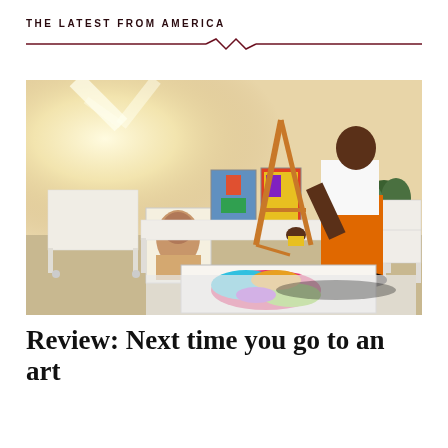THE LATEST FROM AMERICA
[Figure (photo): An artist in orange pants and white t-shirt leans over a colorful painting on the floor of an art studio. Easels, canvases, and art supplies are visible in the background.]
Review: Next time you go to an art